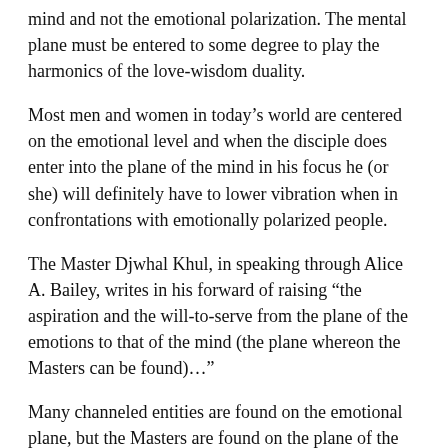mind and not the emotional polarization. The mental plane must be entered to some degree to play the harmonics of the love-wisdom duality.
Most men and women in today’s world are centered on the emotional level and when the disciple does enter into the plane of the mind in his focus he (or she) will definitely have to lower vibration when in confrontations with emotionally polarized people.
The Master Djwhal Khul, in speaking through Alice A. Bailey, writes in his forward of raising “the aspiration and the will-to-serve from the plane of the emotions to that of the mind (the plane whereon the Masters can be found)…”
Many channeled entities are found on the emotional plane, but the Masters are found on the plane of the mind for this place is the doorway to the invisible worlds of the Spirit.
The So...